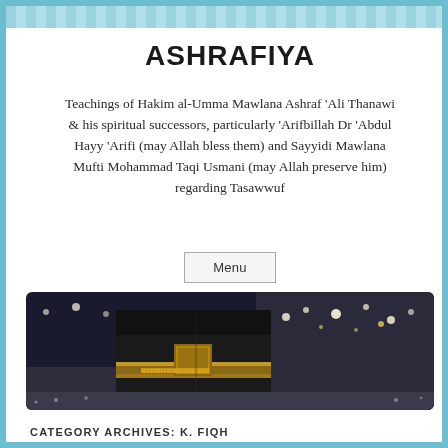ASHRAFIYA
Teachings of Hakim al-Umma Mawlana Ashraf 'Ali Thanawi & his spiritual successors, particularly 'Arifbillah Dr 'Abdul Hayy 'Arifi (may Allah bless them) and Sayyidi Mawlana Mufti Mohammad Taqi Usmani (may Allah preserve him) regarding Tasawwuf
Menu
[Figure (photo): Photograph of the Kaaba (Ka'bah) in Mecca surrounded by crowds of pilgrims, taken at night with bright lights visible in the background.]
CATEGORY ARCHIVES: K. FIQH